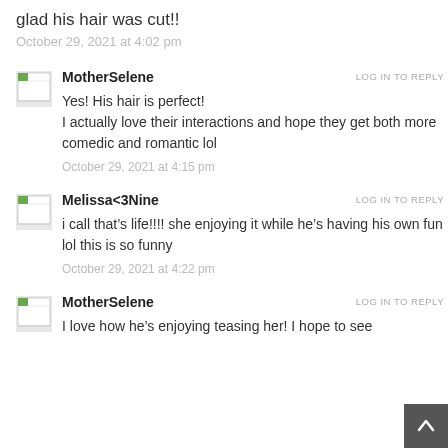glad his hair was cut!!
October 29, 2021 at 4:02 pm
MotherSelene
LOG IN TO REPLY
Yes! His hair is perfect!
I actually love their interactions and hope they get both more comedic and romantic lol
October 29, 2021 at 4:15 pm
Melissa<3Nine
LOG IN TO REPLY
i call that’s life!!!! she enjoying it while he’s having his own fun lol this is so funny
October 29, 2021 at 4:22 pm
MotherSelene
LOG IN TO REPLY
I love how he’s enjoying teasing her! I hope to see